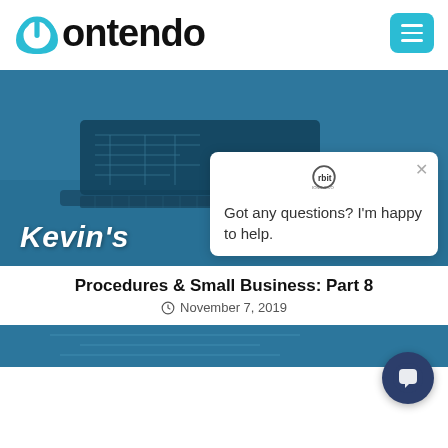[Figure (logo): Contendo logo with blue power button icon and bold text]
[Figure (photo): Hero banner image showing a laptop with engineering blueprints on screen, blue tinted overlay, with text 'Kevin's' partially visible]
[Figure (screenshot): Chat popup overlay with 'rbit' logo and text 'Got any questions? I'm happy to help.']
Procedures & Small Business: Part 8
November 7, 2019
[Figure (photo): Bottom partial image, blue tinted laptop/tech photo]